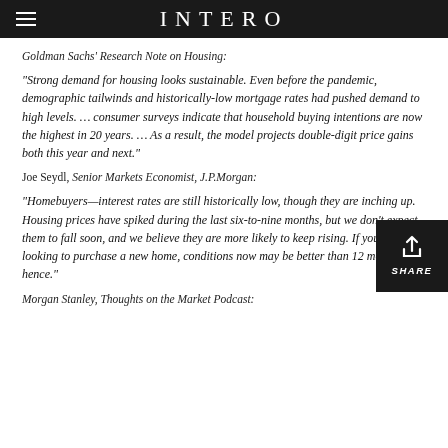INTERO
Goldman Sachs' Research Note on Housing:
“Strong demand for housing looks sustainable. Even before the pandemic, demographic tailwinds and historically-low mortgage rates had pushed demand to high levels. … consumer surveys indicate that household buying intentions are now the highest in 20 years. … As a result, the model projects double-digit price gains both this year and next.”
Joe Seydl, Senior Markets Economist, J.P.Morgan:
“Homebuyers—interest rates are still historically low, though they are inching up. Housing prices have spiked during the last six-to-nine months, but we don’t expect them to fall soon, and we believe they are more likely to keep rising. If you are looking to purchase a new home, conditions now may be better than 12 months hence.”
Morgan Stanley, Thoughts on the Market Podcast: